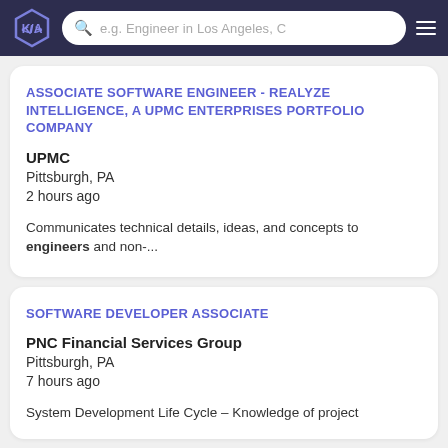KA logo | search bar: e.g. Engineer in Los Angeles, C | menu
ASSOCIATE SOFTWARE ENGINEER - REALYZE INTELLIGENCE, A UPMC ENTERPRISES PORTFOLIO COMPANY
UPMC
Pittsburgh, PA
2 hours ago
Communicates technical details, ideas, and concepts to engineers and non-...
SOFTWARE DEVELOPER ASSOCIATE
PNC Financial Services Group
Pittsburgh, PA
7 hours ago
System Development Life Cycle – Knowledge of project management techniques and...